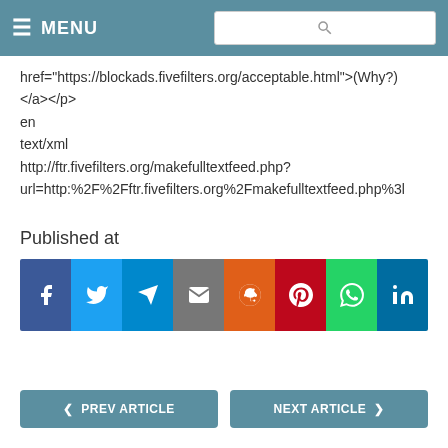MENU
href="https://blockads.fivefilters.org/acceptable.html">(Why?)</a></p>
en
text/xml
http://ftr.fivefilters.org/makefulltextfeed.php?
url=http:%2F%2Fftr.fivefilters.org%2Fmakefulltextfeed.php%3l
Published at
[Figure (other): Social share buttons: Facebook, Twitter, Telegram, Email, Reddit, Pinterest, WhatsApp, LinkedIn]
< PREV ARTICLE    NEXT ARTICLE >